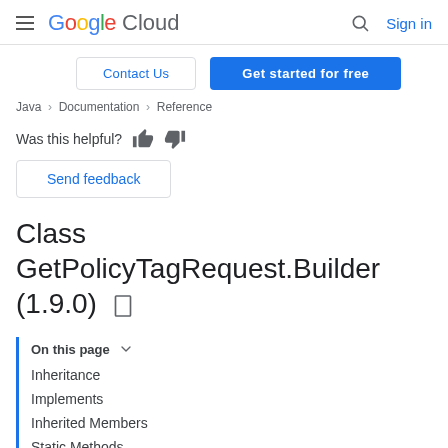Google Cloud  Sign in
Contact Us  Get started for free
Java > Documentation > Reference
Was this helpful?
Send feedback
Class GetPolicyTagRequest.Builder (1.9.0)
On this page
Inheritance
Implements
Inherited Members
Static Methods
getDescriptor()